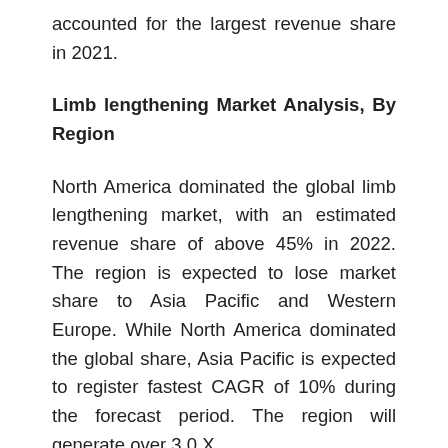accounted for the largest revenue share in 2021.
Limb lengthening Market Analysis, By Region
North America dominated the global limb lengthening market, with an estimated revenue share of above 45% in 2022. The region is expected to lose market share to Asia Pacific and Western Europe. While North America dominated the global share, Asia Pacific is expected to register fastest CAGR of 10% during the forecast period. The region will generate over 3.0 X